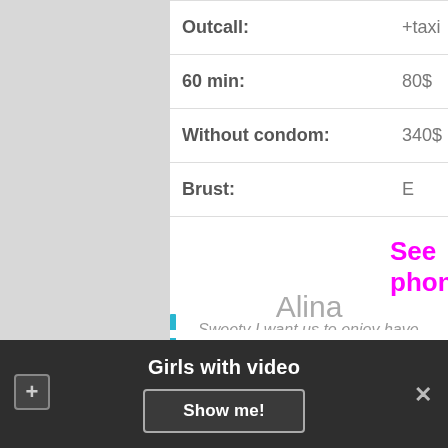| Outcall: | +taxi |
| 60 min: | 80$ |
| Without condom: | 340$ |
| Brust: | E |
See phone number
Sweety I want us to enjoy have a good time share some laughs and indulge on eatchothers body's
Alina
Girls with video
Show me!